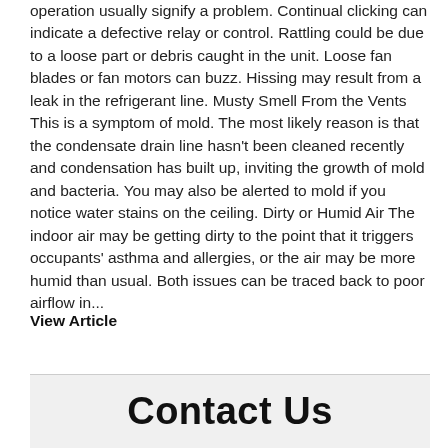operation usually signify a problem. Continual clicking can indicate a defective relay or control. Rattling could be due to a loose part or debris caught in the unit. Loose fan blades or fan motors can buzz. Hissing may result from a leak in the refrigerant line. Musty Smell From the Vents This is a symptom of mold. The most likely reason is that the condensate drain line hasn't been cleaned recently and condensation has built up, inviting the growth of mold and bacteria. You may also be alerted to mold if you notice water stains on the ceiling. Dirty or Humid Air The indoor air may be getting dirty to the point that it triggers occupants' asthma and allergies, or the air may be more humid than usual. Both issues can be traced back to poor airflow in...
View Article
Contact Us